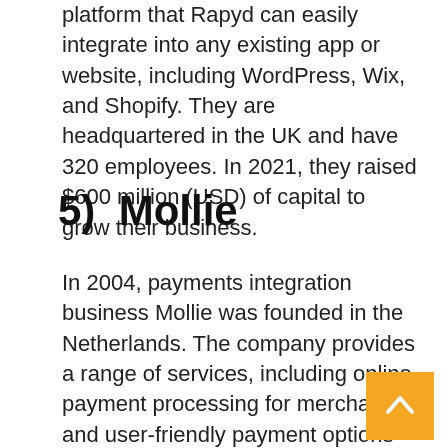platform that Rapyd can easily integrate into any existing app or website, including WordPress, Wix, and Shopify. They are headquartered in the UK and have 320 employees. In 2021, they raised $600 million (USD) of capital to grow their business.
5)  Mollie
In 2004, payments integration business Mollie was founded in the Netherlands. The company provides a range of services, including online payment processing for merchants and user-friendly payment options for end-users. It has since grown into a workforce of over 515 individuals and secured $675m (USD) of new funding from investors this year to support the company's expansion.